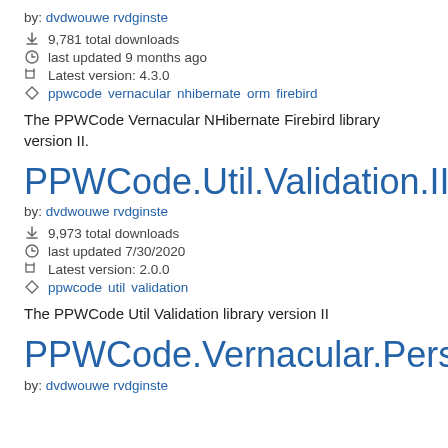by: dvdwouwe rvdginste
↓ 14,781 total downloads
last updated 9 months ago
Latest version: 4.3.0
ppwcode vernacular nhibernate orm firebird
The PPWCode Vernacular NHibernate Firebird library version II.
PPWCode.Util.Validation.II
by: dvdwouwe rvdginste
↓ 9,973 total downloads
last updated 7/30/2020
Latest version: 2.0.0
ppwcode util validation
The PPWCode Util Validation library version II
PPWCode.Vernacular.Persistence.II
by: dvdwouwe rvdginste